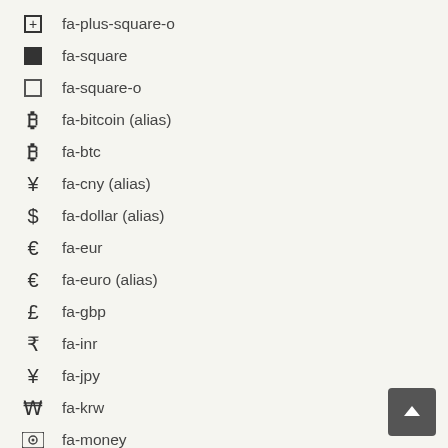fa-plus-square-o
fa-square
fa-square-o
fa-bitcoin (alias)
fa-btc
fa-cny (alias)
fa-dollar (alias)
fa-eur
fa-euro (alias)
fa-gbp
fa-inr
fa-jpy
fa-krw
fa-money
fa-rmb (alias)